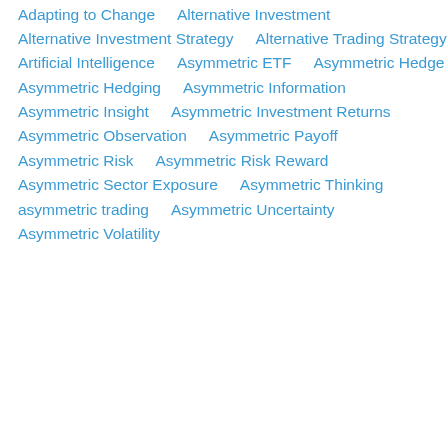Adapting to Change
Alternative Investment
Alternative Investment Strategy
Alternative Trading Strategy
Artificial Intelligence
Asymmetric ETF
Asymmetric Hedge
Asymmetric Hedging
Asymmetric Information
Asymmetric Insight
Asymmetric Investment Returns
Asymmetric Observation
Asymmetric Payoff
Asymmetric Risk
Asymmetric Risk Reward
Asymmetric Sector Exposure
Asymmetric Thinking
asymmetric trading
Asymmetric Uncertainty
Asymmetric Volatility